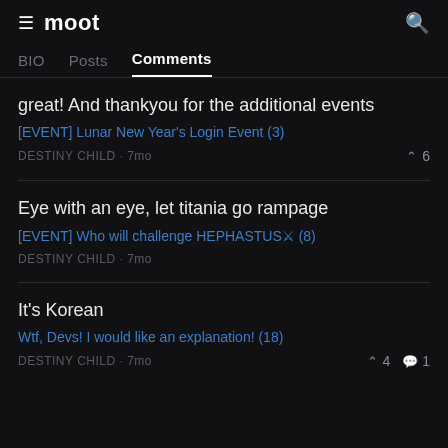moot
BIO  Posts  Comments
great! And thankyou for the additional events
[EVENT] Lunar New Year's Login Event (3)
DESTINY CHILD · 7mo  ∧ 6
Eye with an eye, let titania go rampage
[EVENT] Who will challenge HEPHASTUS⚔ (8)
DESTINY CHILD · 7mo
It's Korean
Wtf, Devs! I would like an explanation! (18)
DESTINY CHILD · 7mo  ∧ 4  💬 1